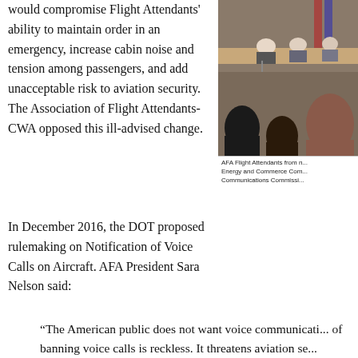would compromise Flight Attendants' ability to maintain order in an emergency, increase cabin noise and tension among passengers, and add unacceptable risk to aviation security. The Association of Flight Attendants-CWA opposed this ill-advised change.
[Figure (photo): Photo of AFA Flight Attendants testifying before the Energy and Commerce Committee and/or Federal Communications Commission hearing room.]
AFA Flight Attendants from ... Energy and Commerce Com... Communications Commissi...
In December 2016, the DOT proposed rulemaking on Notification of Voice Calls on Aircraft. AFA President Sara Nelson said:
“The American public does not want voice communicati... of banning voice calls is reckless. It threatens aviation se... likelihood of conflict in the skies. It threatens safety for c... will continue to press for a complete ban of inflight voice... Period.”
The DOT never took further action on this rulemaking.
Finally in April 2017, the FCC announced it would terminate...